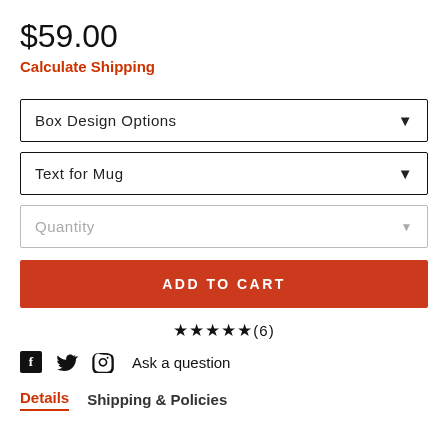$59.00
Calculate Shipping
Box Design Options
Text for Mug
Quantity
ADD TO CART
★★★★★(6)
Ask a question
Details   Shipping & Policies